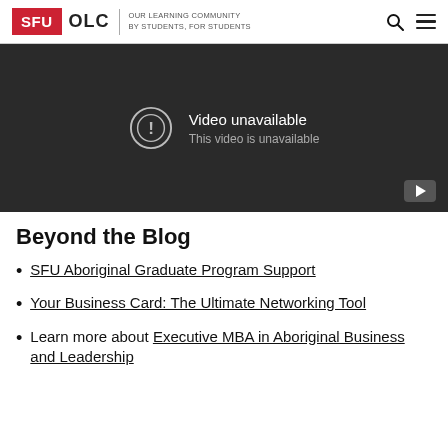SFU OLC | OUR LEARNING COMMUNITY BY STUDENTS, FOR STUDENTS
[Figure (screenshot): Embedded video player showing 'Video unavailable - This video is unavailable' message on dark background with a play button in bottom right corner.]
Beyond the Blog
SFU Aboriginal Graduate Program Support
Your Business Card: The Ultimate Networking Tool
Learn more about Executive MBA in Aboriginal Business and Leadership